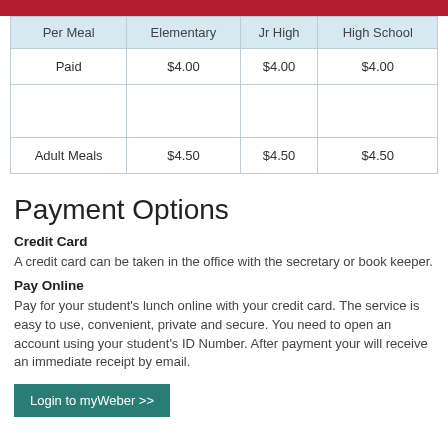School District
| Per Meal | Elementary | Jr High | High School |
| --- | --- | --- | --- |
| Paid | $4.00 | $4.00 | $4.00 |
|  |  |  |  |
| Adult Meals | $4.50 | $4.50 | $4.50 |
Payment Options
Credit Card
A credit card can be taken in the office with the secretary or book keeper.
Pay Online
Pay for your student's lunch online with your credit card. The service is easy to use, convenient, private and secure. You need to open an account using your student's ID Number. After payment your will receive an immediate receipt by email.
Login to myWeber >>